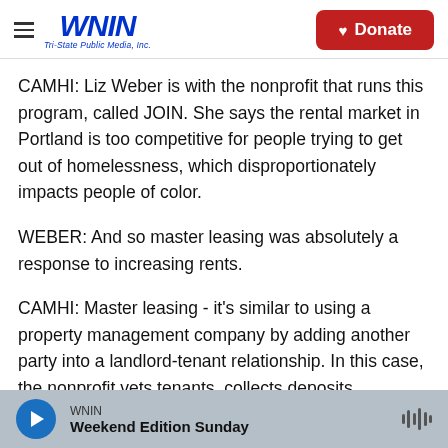WNIN Tri-State Public Media, Inc. | Donate
CAMHI: Liz Weber is with the nonprofit that runs this program, called JOIN. She says the rental market in Portland is too competitive for people trying to get out of homelessness, which disproportionately impacts people of color.
WEBER: And so master leasing was absolutely a response to increasing rents.
CAMHI: Master leasing - it's similar to using a property management company by adding another party into a landlord-tenant relationship. In this case, the nonprofit vets tenants, collects deposits,
WNIN | Weekend Edition Sunday